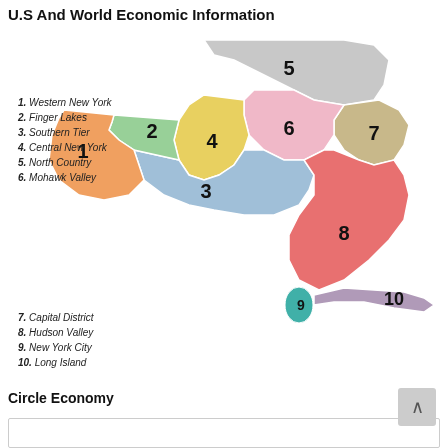U.S And World Economic Information
[Figure (map): Map of New York State divided into 10 economic regions, color-coded: 1 Western New York (orange), 2 Finger Lakes (green), 3 Southern Tier (blue), 4 Central New York (yellow), 5 North Country (gray), 6 Mohawk Valley (pink), 7 Capital District (tan/beige), 8 Hudson Valley (red/salmon), 9 New York City (teal), 10 Long Island (purple). Each region is labeled with its number on the map.]
1. Western New York
2. Finger Lakes
3. Southern Tier
4. Central New York
5. North Country
6. Mohawk Valley
7. Capital District
8. Hudson Valley
9. New York City
10. Long Island
Circle Economy